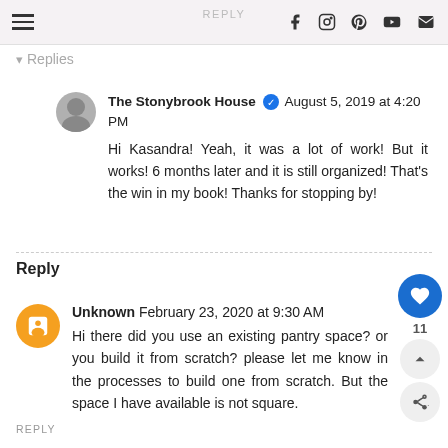REPLY
Replies
The Stonybrook House ✓ August 5, 2019 at 4:20 PM
Hi Kasandra! Yeah, it was a lot of work! But it works! 6 months later and it is still organized! That's the win in my book! Thanks for stopping by!
Reply
Unknown February 23, 2020 at 9:30 AM
Hi there did you use an existing pantry space? or you build it from scratch? please let me know in the processes to build one from scratch. But the space I have available is not square.
REPLY